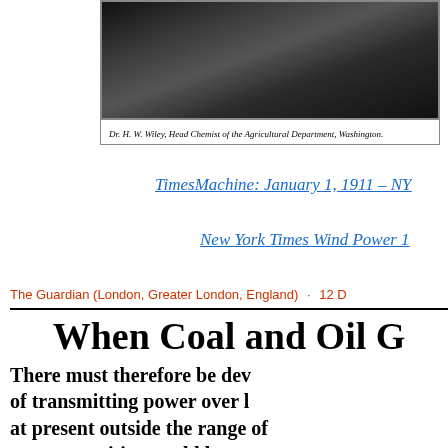[Figure (photo): Black and white photograph of Dr. H. W. Wiley, Head Chemist of the Agricultural Department, Washington]
Dr. H. W. Wiley, Head Chemist of the Agricultural Department, Washington.
TimesMachine: January 1, 1911 – NY
New York Times Wind Power 1
The Guardian (London, Greater London, England) · 12 D
When Coal and Oil G
There must therefore be dev of transmitting power over l at present outside the range of or communities would have to g working range of power res climatic reasons the former likely, and the solution of th